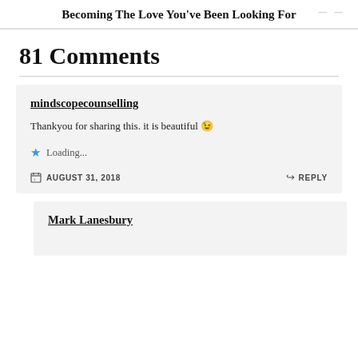Becoming The Love You've Been Looking For
81 Comments
mindscopecounselling
Thankyou for sharing this. it is beautiful 😉
Loading...
AUGUST 31, 2018
REPLY
Mark Lanesbury